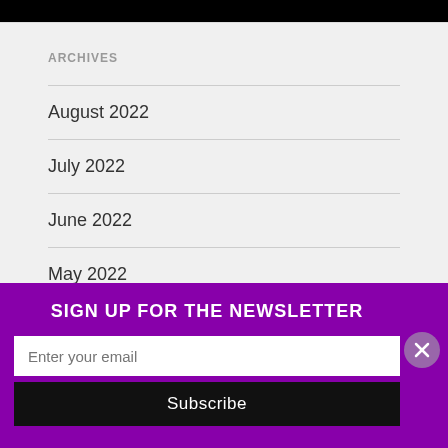ARCHIVES
August 2022
July 2022
June 2022
May 2022
April 2022
SIGN UP FOR THE NEWSLETTER
Enter your email
Subscribe